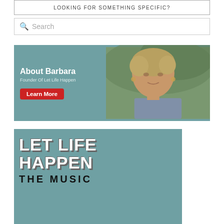LOOKING FOR SOMETHING SPECIFIC?
[Figure (screenshot): Search input box with magnifying glass icon and placeholder text 'Search']
[Figure (infographic): About Barbara banner with teal background, photo of woman, text 'About Barbara Founder Of Let Life Happen' and red 'Learn More' button]
[Figure (infographic): Let Life Happen The Music banner with teal background and large white drop-shadow text]